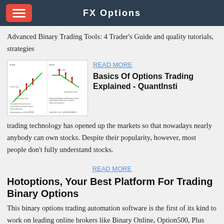FX Options
Advanced Binary Trading Tools: 4 Trader's Guide and quality tutorials, strategies
[Figure (illustration): Two financial charts showing profit lines with underlying value labels and red/green candle-like arrows]
READ MORE
Basics Of Options Trading Explained - QuantInsti
trading technology has opened up the markets so that nowadays nearly anybody can own stocks. Despite their popularity, however, most people don't fully understand stocks.
READ MORE
Hotoptions, Your Best Platform For Trading Binary Options
This binary options trading automation software is the first of its kind to work on leading online brokers like Binary Online, Option500, Plus Option, Greenfields capital, 72Option and